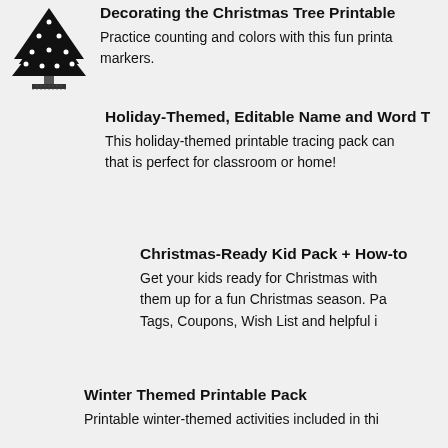[Figure (illustration): Black and white illustration of a decorated Christmas tree with ornaments and a base stand]
Decorating the Christmas Tree Printable
Practice counting and colors with this fun printable markers.
Holiday-Themed, Editable Name and Word T
This holiday-themed printable tracing pack can that is perfect for classroom or home!
Christmas-Ready Kid Pack + How-to
Get your kids ready for Christmas with them up for a fun Christmas season. Pa Tags, Coupons, Wish List and helpful i
Winter Themed Printable Pack
Printable winter-themed activities included in thi